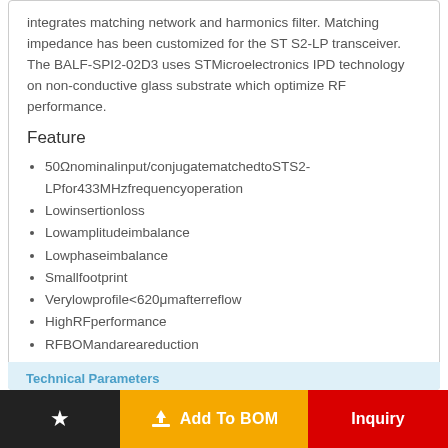integrates matching network and harmonics filter. Matching impedance has been customized for the ST S2-LP transceiver. The BALF-SPI2-02D3 uses STMicroelectronics IPD technology on non-conductive glass substrate which optimize RF performance.
Feature
50Ωnominalinput/conjugatematchedtoSTS2-LPfor433MHzfrequencyoperation
Lowinsertionloss
Lowamplitudeimbalance
Lowphaseimbalance
Smallfootprint
Verylowprofile<620μmafterreflow
HighRFperformance
RFBOMandareareduction
ECOPACK2compliantcomponent
Technical Parameters